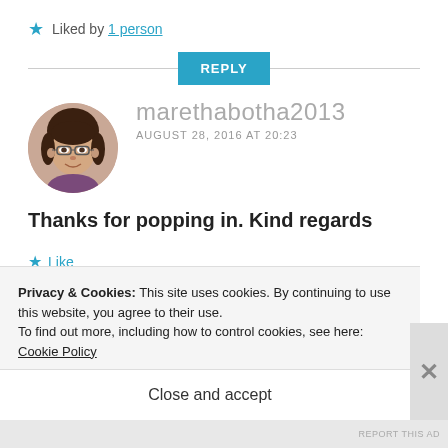★ Liked by 1 person
REPLY
[Figure (photo): Circular avatar photo of a middle-aged woman with glasses, brown hair, smiling, wearing a purple top.]
marethabotha2013
AUGUST 28, 2016 AT 20:23
Thanks for popping in. Kind regards
★ Like
Privacy & Cookies: This site uses cookies. By continuing to use this website, you agree to their use.
To find out more, including how to control cookies, see here: Cookie Policy
Close and accept